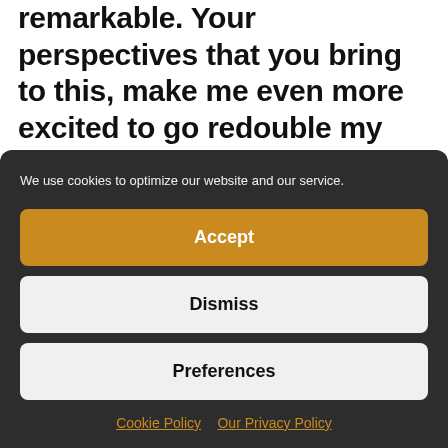remarkable. Your perspectives that you bring to this, make me even more excited to go redouble my efforts to see what I can do and in my own small corner of the world to help us get to clean energy faster, to make a difference and to help build those resilient supply chains and resiliency
We use cookies to optimize our website and our service.
Accept
Dismiss
Preferences
Cookie Policy  Our Privacy Policy